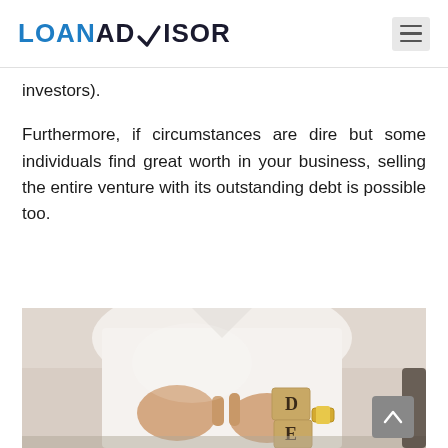LOANADVISOR
investors).
Furthermore, if circumstances are dire but some individuals find great worth in your business, selling the entire venture with its outstanding debt is possible too.
[Figure (photo): Person in white shirt holding wooden letter blocks spelling 'DE', wearing a gold watch, sitting at a table.]